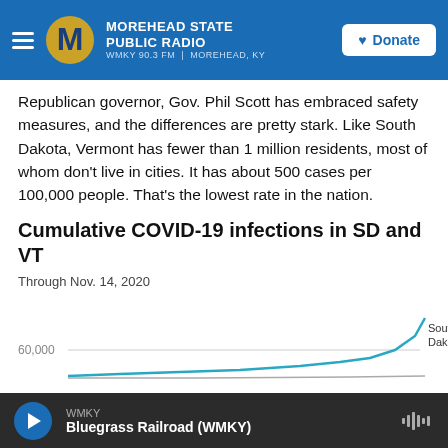Morehead State Public Radio — WMKY 90.3 FM | Morehead, KY — Donate
Republican governor, Gov. Phil Scott has embraced safety measures, and the differences are pretty stark. Like South Dakota, Vermont has fewer than 1 million residents, most of whom don't live in cities. It has about 500 cases per 100,000 people. That's the lowest rate in the nation.
Cumulative COVID-19 infections in SD and VT
Through Nov. 14, 2020
[Figure (line-chart): Line chart showing cumulative COVID-19 infections in South Dakota and Vermont through Nov. 14, 2020. Y-axis label visible: 60,000. South Dakota line rises steeply at right edge. Vermont line is very low. Label 'South Dakota' appears at top right.]
WMKY — Bluegrass Railroad (WMKY)